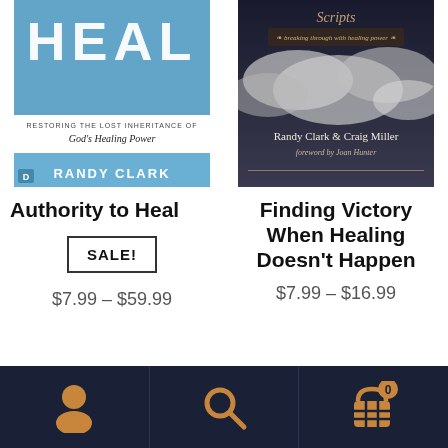[Figure (photo): Book cover for 'Authority to Heal' by Randy Clark - blue tones with puzzle pieces and text 'Restoring the Lost Inheritance of God's Healing Power']
[Figure (photo): Book cover for 'Finding Victory When Healing Doesn't Happen' by Randy Clark & Craig Miller, foreword by Joan Hunter - dramatic clouds background]
Authority to Heal
Finding Victory When Healing Doesn't Happen
SALE!
$7.99 – $59.99
$7.99 – $16.99
[Figure (screenshot): Bottom navigation bar with dark background showing user icon, search icon, and cart icon with 0 badge]